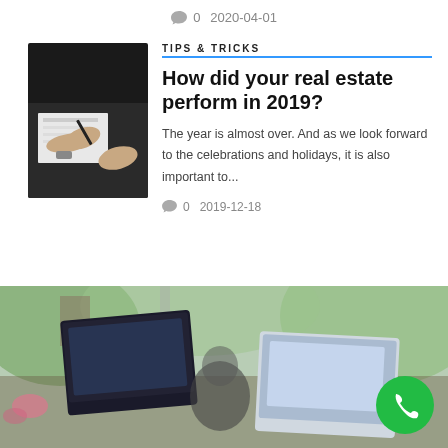0   2020-04-01
TIPS & TRICKS
How did your real estate perform in 2019?
[Figure (photo): Person writing or reviewing documents at a desk, hands visible with a pen and papers, dark background]
The year is almost over. And as we look forward to the celebrations and holidays, it is also important to...
0   2019-12-18
[Figure (photo): Outdoor cafe or terrace scene with laptops on a table, green plants in background, blurred/bokeh style photo. Green phone button overlay in bottom right.]